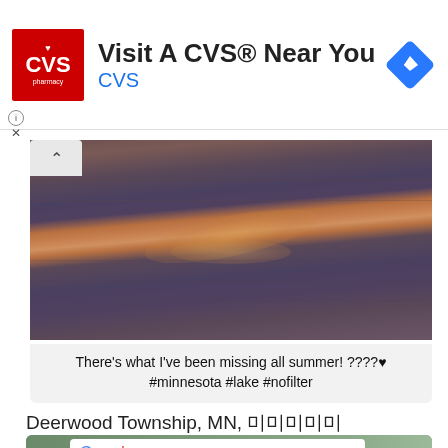[Figure (screenshot): CVS Pharmacy advertisement banner with red CVS logo, text 'Visit A CVS® Near You' and blue CVS brand name, with a blue diamond navigation icon on the right]
[Figure (photo): Sunset reflecting on a lake or ocean surface with warm golden-orange light glinting off choppy water, dark tones overall]
There's what I've been missing all summer! ????♥ #minnesota #lake #nofilter
Deerwood Township, MN, 미미미미미
[Figure (screenshot): Google Maps card showing Google logo and Korean text below it, with partial map visible in background]